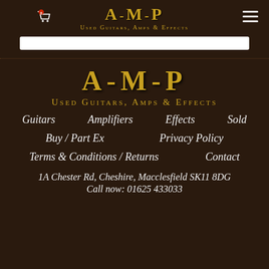[Figure (logo): AMP Used Guitars, Amps & Effects logo with shopping cart icon and hamburger menu in header]
[Figure (other): White search bar input field]
[Figure (logo): Large AMP Used Guitars, Amps & Effects logo centered on page]
Guitars
Amplifiers
Effects
Sold
Buy / Part Ex
Privacy Policy
Terms & Conditions / Returns
Contact
1A Chester Rd, Cheshire, Macclesfield SK11 8DG
Call now: 01625 433033